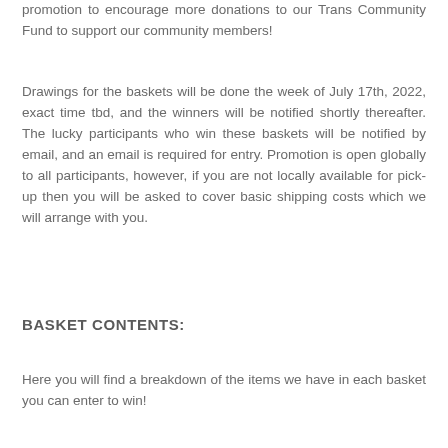promotion to encourage more donations to our Trans Community Fund to support our community members!
Drawings for the baskets will be done the week of July 17th, 2022, exact time tbd, and the winners will be notified shortly thereafter. The lucky participants who win these baskets will be notified by email, and an email is required for entry. Promotion is open globally to all participants, however, if you are not locally available for pick-up then you will be asked to cover basic shipping costs which we will arrange with you.
BASKET CONTENTS:
Here you will find a breakdown of the items we have in each basket you can enter to win!